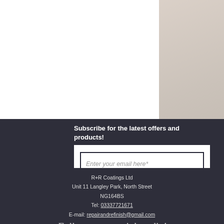Subscribe for the latest offers and products!
[Figure (screenshot): Email subscription form with a text input field labeled 'Enter your email here*', a blue spinning loader indicator, and a dark 'Join' button]
R+R Coatings Ltd
Unit 11 Langley Park, North Street
NG164BS
Tel: 03337721671
E-mail: repairandrefinish@gmail.com
Follow us on social media!